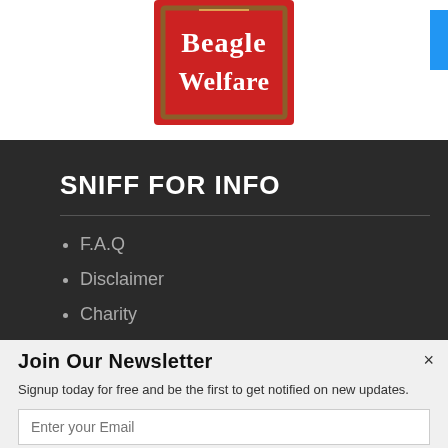[Figure (logo): Beagle Welfare logo - red square with brown border, white text reading 'Beagle Welfare' in stylized font]
SNIFF FOR INFO
F.A.Q
Disclaimer
Charity
privacy Policy
Join Our Newsletter
Signup today for free and be the first to get notified on new updates.
Enter your Email